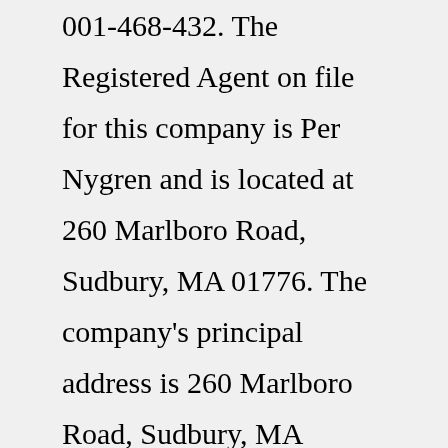001-468-432. The Registered Agent on file for this company is Per Nygren and is located at 260 Marlboro Road, Sudbury, MA 01776. The company's principal address is 260 Marlboro Road, Sudbury, MA 01776.We are one of the Nordic region's fastest growing companies and offer complete solutions in IT, business development and communication. We have gathered the industry's most competent expertise to create long-term and